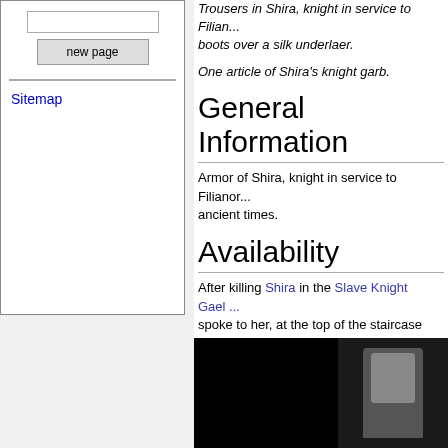Trousers in Shira, knight in service to Filian... boots over a silk underlaer.
One article of Shira's knight garb.
General Information
Armor of Shira, knight in service to Filianor... ancient times.
Availability
After killing Shira in the Slave Knight Gael ... spoke to her, at the top of the staircase bef... door will be open, and the set will be on a c...
Comments
Show Comments
Front and Back
[Figure (photo): Dark screenshot showing armored figure of Shira from front and back views]